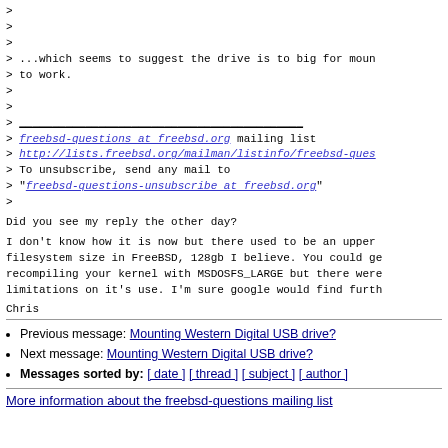> 
> 
> 
> ...which seems to suggest the drive is to big for moun
> to work.
> 
> 
> ___________________________________________
> freebsd-questions at freebsd.org mailing list
> http://lists.freebsd.org/mailman/listinfo/freebsd-ques
> To unsubscribe, send any mail to
> "freebsd-questions-unsubscribe at freebsd.org"
>
Did you see my reply the other day?
I don't know how it is now but there used to be an upper
filesystem size in FreeBSD, 128gb I believe. You could ge
recompiling your kernel with MSDOSFS_LARGE but there were
limitations on it's use. I'm sure google would find furth
Chris
Previous message: Mounting Western Digital USB drive?
Next message: Mounting Western Digital USB drive?
Messages sorted by: [ date ] [ thread ] [ subject ] [ author ]
More information about the freebsd-questions mailing list